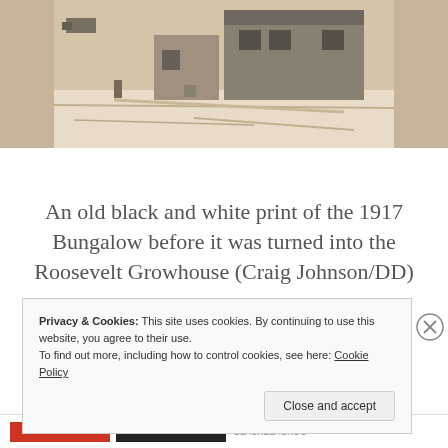[Figure (photo): An old black and white photograph showing a building (bungalow) from 1917, with a street scene in winter or overcast light. The photo is sepia-toned and partially cropped at the top.]
An old black and white print of the 1917 Bungalow before it was turned into the Roosevelt Growhouse (Craig Johnson/DD)
Privacy & Cookies: This site uses cookies. By continuing to use this website, you agree to their use.
To find out more, including how to control cookies, see here: Cookie Policy
Close and accept